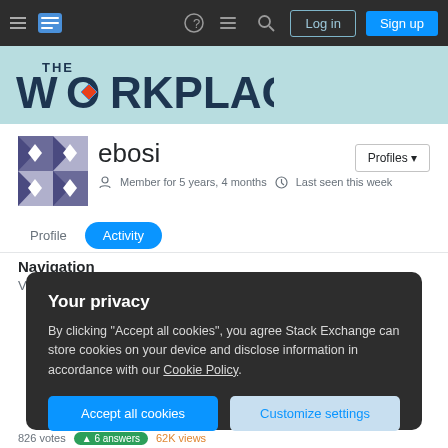The Workplace Stack Exchange - Navigation bar with Log in and Sign up buttons
[Figure (logo): The Workplace logo with teal/blue text and diamond icon]
[Figure (illustration): User avatar with geometric pattern in blue/white/purple]
ebosi
Member for 5 years, 4 months   Last seen this week
Profile   Activity
Navigation
View all activity pages
Your privacy
By clicking "Accept all cookies", you agree Stack Exchange can store cookies on your device and disclose information in accordance with our Cookie Policy.
Accept all cookies   Customize settings